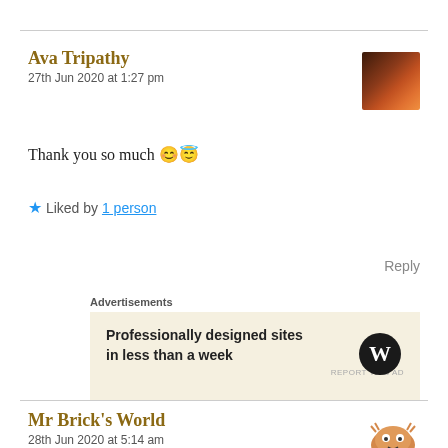Ava Tripathy
27th Jun 2020 at 1:27 pm
Thank you so much 😊😇
★ Liked by 1 person
Reply
Advertisements
Professionally designed sites in less than a week
REPORT THIS AD
Mr Brick's World
28th Jun 2020 at 5:14 am